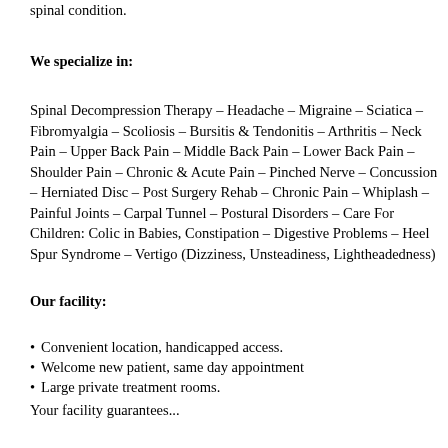spinal condition.
We specialize in:
Spinal Decompression Therapy – Headache – Migraine – Sciatica – Fibromyalgia – Scoliosis – Bursitis & Tendonitis – Arthritis – Neck Pain – Upper Back Pain – Middle Back Pain – Lower Back Pain – Shoulder Pain – Chronic & Acute Pain – Pinched Nerve – Concussion – Herniated Disc – Post Surgery Rehab – Chronic Pain – Whiplash – Painful Joints – Carpal Tunnel – Postural Disorders – Care For Children: Colic in Babies, Constipation – Digestive Problems – Heel Spur Syndrome – Vertigo (Dizziness, Unsteadiness, Lightheadedness)
Our facility:
Convenient location, handicapped access.
Welcome new patient, same day appointment
Large private treatment rooms.
Your facility guarantees...